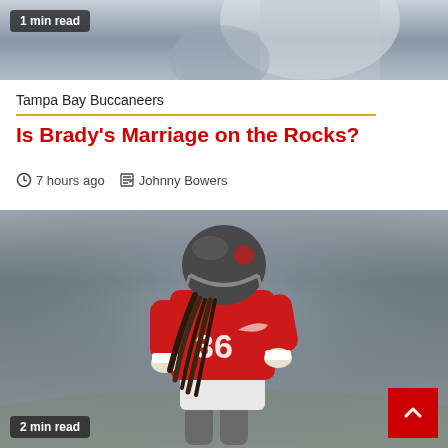[Figure (photo): Top cropped photo of a football player in white jersey, partially visible, blurred background]
1 min read
Tampa Bay Buccaneers
Is Brady's Marriage on the Rocks?
7 hours ago   Johnny Bowers
[Figure (photo): Tampa Bay Buccaneers player wearing red jersey #36 and pewter helmet with dreadlocks, running on practice field]
2 min read